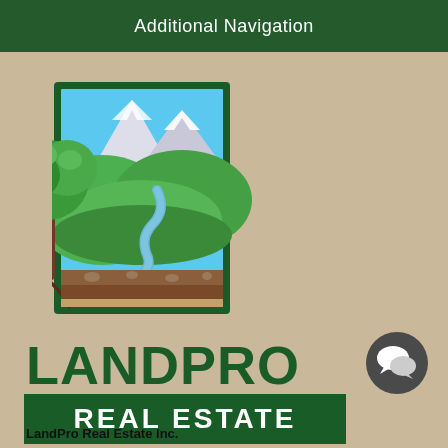Additional Navigation
[Figure (logo): LandPro Real Estate logo: a rectangular illustration with green border showing mountains with snow caps and blue sky at top, rolling green hills and trees, a winding blue river, a deciduous tree with roots showing cross-section of soil layers (brown earth, tan sand) at bottom. The tree partially extends outside the left side of the rectangle border.]
LANDPRO REAL ESTATE
LandPro Real Estate Inc.